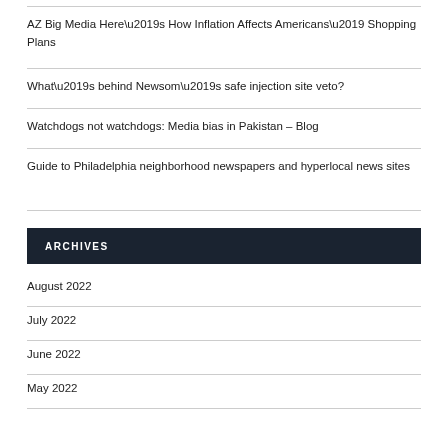AZ Big Media Here’s How Inflation Affects Americans’ Shopping Plans
What’s behind Newsom’s safe injection site veto?
Watchdogs not watchdogs: Media bias in Pakistan – Blog
Guide to Philadelphia neighborhood newspapers and hyperlocal news sites
ARCHIVES
August 2022
July 2022
June 2022
May 2022